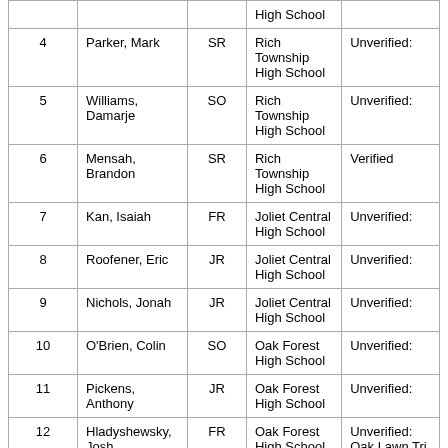| Lane | Athlete | Yr. | Team | Note |
| --- | --- | --- | --- | --- |
|  |  |  | High School |  |
| 4 | Parker, Mark | SR | Rich Township High School | Unverified: |
| 5 | Williams, Damarje | SO | Rich Township High School | Unverified: |
| 6 | Mensah, Brandon | SR | Rich Township High School | Verified |
| 7 | Kan, Isaiah | FR | Joliet Central High School | Unverified: |
| 8 | Roofener, Eric | JR | Joliet Central High School | Unverified: |
| 9 | Nichols, Jonah | JR | Joliet Central High School | Unverified: |
| 10 | O'Brien, Colin | SO | Oak Forest High School | Unverified: |
| 11 | Pickens, Anthony | JR | Oak Forest High School | Unverified: |
| 12 | Hladyshewsky, Josh | FR | Oak Forest High School | Unverified: Oak Lawn Tri |
FLIGHT 2 OF 2
| Lane | Athlete | Yr. | Team | Note |
| --- | --- | --- | --- | --- |